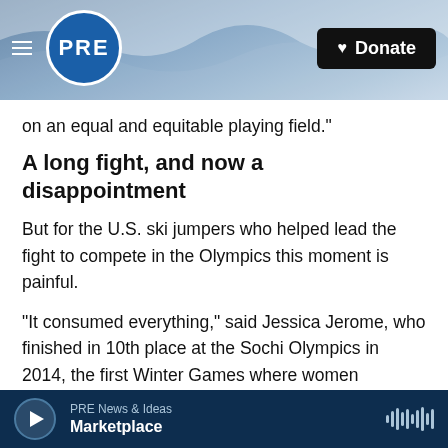PRE logo and navigation header with Donate button
on an equal and equitable playing field."
A long fight, and now a disappointment
But for the U.S. ski jumpers who helped lead the fight to compete in the Olympics this moment is painful.
"It consumed everything," said Jessica Jerome, who finished in 10th place at the Sochi Olympics in 2014, the first Winter Games where women competed.
[Figure (photo): Partial view of outdoor winter/sports scene image strip at bottom]
PRE News & Ideas — Marketplace (audio player bar)